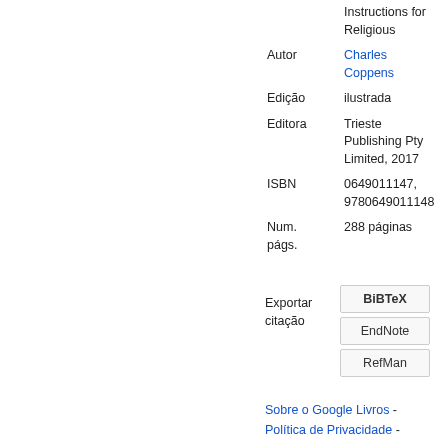| Field | Value |
| --- | --- |
|  | Instructions for Religious |
| Autor | Charles Coppens |
| Edição | ilustrada |
| Editora | Trieste Publishing Pty Limited, 2017 |
| ISBN | 0649011147, 9780649011148 |
| Num. págs. | 288 páginas |
Exportar citação
BiBTeX
EndNote
RefMan
Sobre o Google Livros - Política de Privacidade -